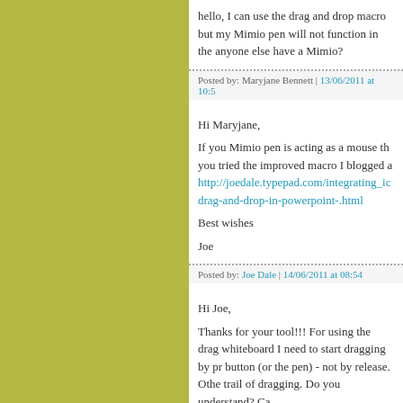hello, I can use the drag and drop macro but my Mimio pen will not function in the anyone else have a Mimio?
Posted by: Maryjane Bennett | 13/06/2011 at 10:5
Hi Maryjane,
If you Mimio pen is acting as a mouse th you tried the improved macro I blogged a http://joedale.typepad.com/integrating_ic drag-and-drop-in-powerpoint-.html
Best wishes
Joe
Posted by: Joe Dale | 14/06/2011 at 08:54
Hi Joe,
Thanks for your tool!!! For using the drag whiteboard I need to start dragging by pr button (or the pen) - not by release. Othe trail of dragging. Do you understand? Ca